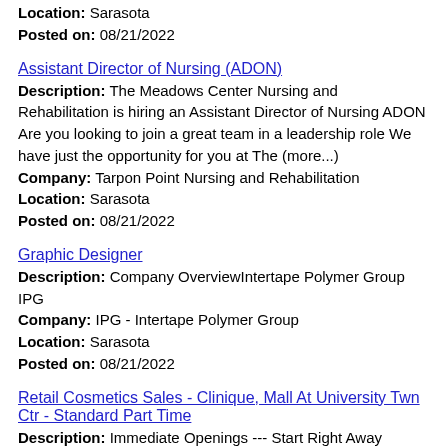Location: Sarasota
Posted on: 08/21/2022
Assistant Director of Nursing (ADON)
Description: The Meadows Center Nursing and Rehabilitation is hiring an Assistant Director of Nursing ADON Are you looking to join a great team in a leadership role We have just the opportunity for you at The (more...)
Company: Tarpon Point Nursing and Rehabilitation
Location: Sarasota
Posted on: 08/21/2022
Graphic Designer
Description: Company OverviewIntertape Polymer Group IPG
Company: IPG - Intertape Polymer Group
Location: Sarasota
Posted on: 08/21/2022
Retail Cosmetics Sales - Clinique, Mall At University Twn Ctr - Standard Part Time
Description: Immediate Openings --- Start Right Away Competitive Hourly Rates Schedules to meet your availability Referral Program Employee Discount at Macy---s AND Bloomingdales About: Macy---s is proudly America---s (more...)